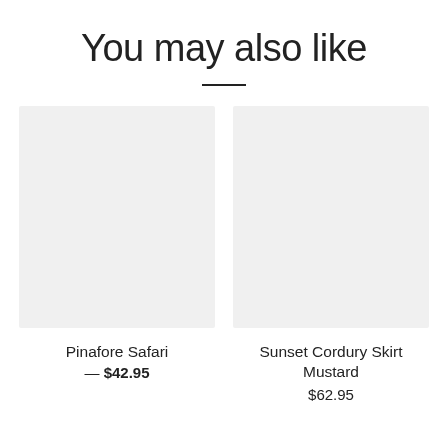You may also like
[Figure (photo): Placeholder image for Pinafore Safari product, light gray rectangle]
Pinafore Safari
— $42.95
[Figure (photo): Placeholder image for Sunset Cordury Skirt Mustard product, light gray rectangle]
Sunset Cordury Skirt Mustard
$62.95